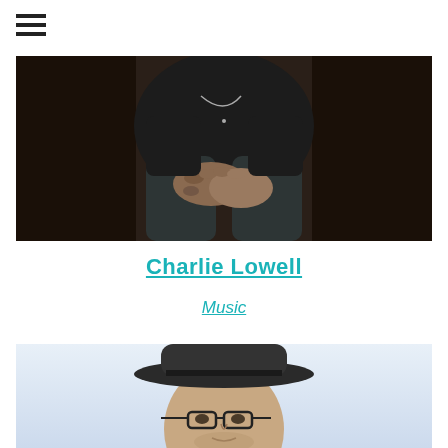[Figure (photo): Close-up photo of a man's torso and hands clasped together, wearing dark clothing, seated in a dark environment with a necklace visible]
Charlie Lowell
Music
[Figure (photo): Portrait photo of a man wearing a dark fedora hat and glasses, photographed against a light blue/white background]